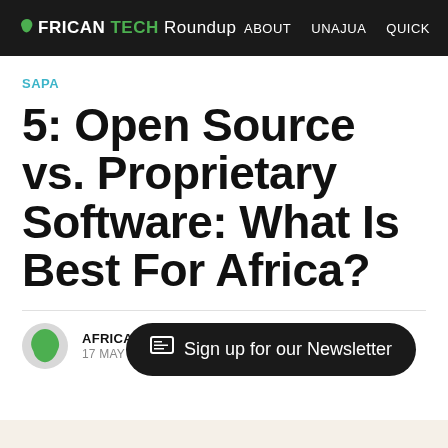AFRICAN TECH Roundup  ABOUT  UNAJUA  QUICK
SAPA
5: Open Source vs. Proprietary Software: What Is Best For Africa?
AFRICAN TECH ROUNDUP
17 MAY 2015 • 1 MIN READ
Sign up for our Newsletter